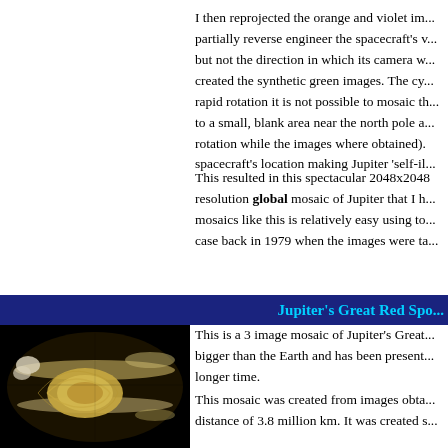I then reprojected the orange and violet images to partially reverse engineer the spacecraft's v... but not the direction in which its camera w... created the synthetic green images. The cy... rapid rotation it is not possible to mosaic th... to a small, blank area near the north pole a... rotation while the images where obtained). spacecraft's location making Jupiter 'self-il...
This resulted in this spectacular 2048x2048 resolution global mosaic of Jupiter that I h... mosaics like this is relatively easy using to... case back in 1979 when the images were ta...
Jupiter's Great Red Spo...
[Figure (photo): Close-up mosaic image of Jupiter's Great Red Spot showing swirling cloud patterns in yellowish and white tones against a black background]
This is a 3 image mosaic of Jupiter's Great... bigger than the Earth and has been present... longer time.
This mosaic was created from images obta... distance of 3.8 million km. It was created s... for two things: Effects of varying illuminat... contrast and color saturation were enhance...
The mosaic shows the Great Red Spot view...